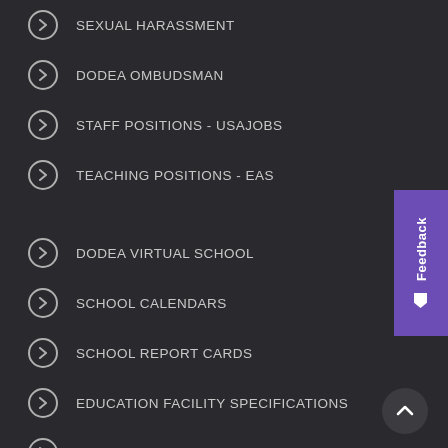SEXUAL HARASSMENT
DODEA OMBUDSMAN
STAFF POSITIONS - USAJOBS
TEACHING POSITIONS - EAS
DODEA VIRTUAL SCHOOL
SCHOOL CALENDARS
SCHOOL REPORT CARDS
EDUCATION FACILITY SPECIFICATIONS
BLUEPRINT FOR CONTINUOUS IMPROVEMENT
PRIVACY
FREEDOM OF INFORMATION ACT (FOIA)
RECORDS & INFORMATION MANAGEMENT (RIM)